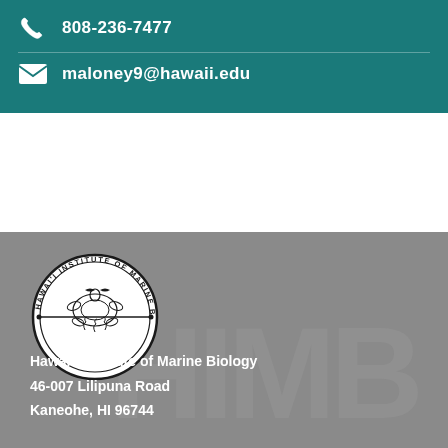808-236-7477
maloney9@hawaii.edu
[Figure (logo): Hawai'i Institute of Marine Biology circular seal/logo with marine life illustration and text around the border]
Hawai'i Institute of Marine Biology
46-007 Lilipuna Road
Kaneohe, HI 96744